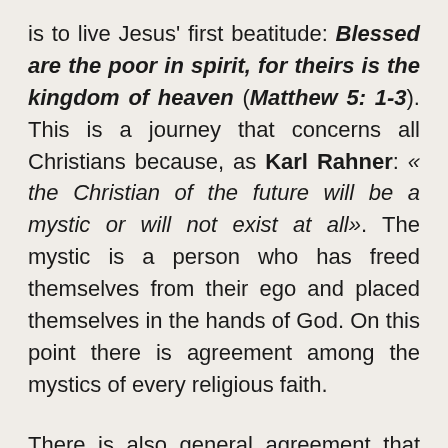is to live Jesus' first beatitude: Blessed are the poor in spirit, for theirs is the kingdom of heaven (Matthew 5: 1-3). This is a journey that concerns all Christians because, as Karl Rahner: « the Christian of the future will be a mystic or will not exist at all». The mystic is a person who has freed themselves from their ego and placed themselves in the hands of God. On this point there is agreement among the mystics of every religious faith.
There is also general agreement that mysticism is not an abstract state. On the contrary, one of the secrets of the great